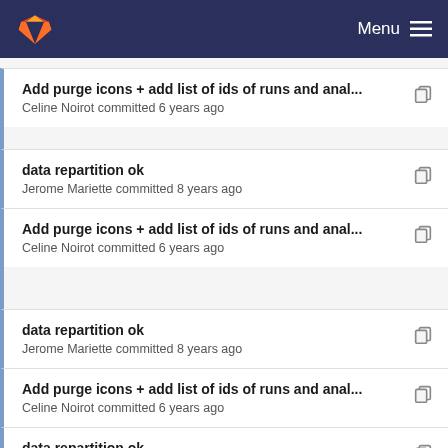GitLab — Menu
Add purge icons + add list of ids of runs and anal...
Celine Noirot committed 6 years ago
data repartition ok
Jerome Mariette committed 8 years ago
Add purge icons + add list of ids of runs and anal...
Celine Noirot committed 6 years ago
data repartition ok
Jerome Mariette committed 8 years ago
Add purge icons + add list of ids of runs and anal...
Celine Noirot committed 6 years ago
data repartition ok
Jerome Mariette committed 8 years ago